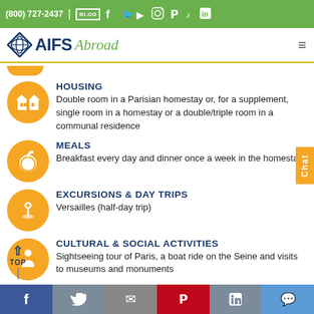(800) 727-2437 | BLOG [social icons]
[Figure (logo): AIFS Abroad logo with diamond globe icon, dark blue AIFS text and green italic Abroad text]
HOUSING
Double room in a Parisian homestay or, for a supplement, single room in a homestay or a double/triple room in a communal residence
MEALS
Breakfast every day and dinner once a week in the homestay
EXCURSIONS & DAY TRIPS
Versailles (half-day trip)
CULTURAL & SOCIAL ACTIVITIES
Sightseeing tour of Paris, a boat ride on the Seine and visits to museums and monuments
Social share bar: Facebook, Twitter, Email, Pinterest, LinkedIn, Messenger